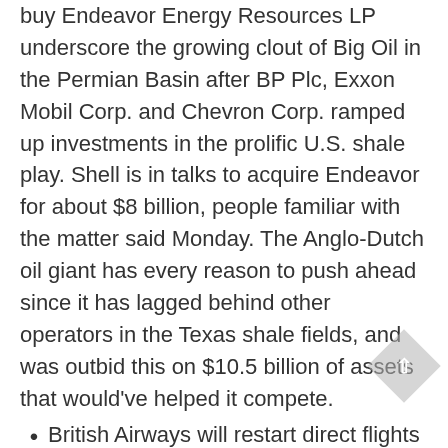buy Endeavor Energy Resources LP underscore the growing clout of Big Oil in the Permian Basin after BP Plc, Exxon Mobil Corp. and Chevron Corp. ramped up investments in the prolific U.S. shale play. Shell is in talks to acquire Endeavor for about $8 billion, people familiar with the matter said Monday. The Anglo-Dutch oil giant has every reason to push ahead since it has lagged behind other operators in the Texas shale fields, and was outbid this on $10.5 billion of assets that would've helped it compete.
British Airways will restart direct flights from London Heathrow airport to Islamabad from June after halting them a decade ago as security in Pakistan deteriorated. The reopening of the route by the airline owned by IAG SA is